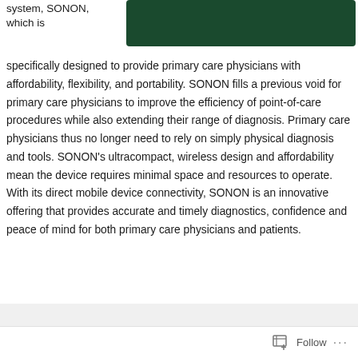system, SONON, which is
[Figure (other): Dark green rectangular banner/header block]
specifically designed to provide primary care physicians with affordability, flexibility, and portability. SONON fills a previous void for primary care physicians to improve the efficiency of point-of-care procedures while also extending their range of diagnosis. Primary care physicians thus no longer need to rely on simply physical diagnosis and tools. SONON’s ultracompact, wireless design and affordability mean the device requires minimal space and resources to operate. With its direct mobile device connectivity, SONON is an innovative offering that provides accurate and timely diagnostics, confidence and peace of mind for both primary care physicians and patients.
Follow ...